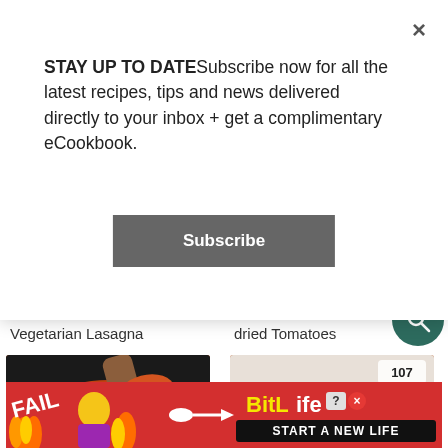STAY UP TO DATE Subscribe now for all the latest recipes, tips and news delivered directly to your inbox + get a complimentary eCookbook.
Subscribe
Vegetarian Lasagna
dried Tomatoes
[Figure (photo): Tomato basil soup in a dark pan with a wooden spoon and fresh basil leaves]
906
Tomato Basil Soup
[Figure (photo): Roasted red pepper and tomato soup in a white bowl with herb garnish]
107
Roasted Red Pepper and Tomato
[Figure (photo): BitLife advertisement banner with animated character]